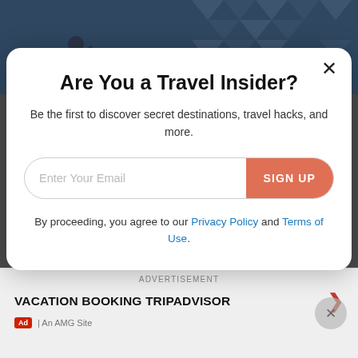[Figure (screenshot): Background showing a dark overlay of a travel/fitness related webpage with images of a person exercising and a geometric blue pattern.]
Are You a Travel Insider?
Be the first to discover secret destinations, travel hacks, and more.
Enter Your Email
SIGN UP
By proceeding, you agree to our Privacy Policy and Terms of Use.
ADVERTISEMENT
VACATION BOOKING TRIPADVISOR
Ad | An AMG Site